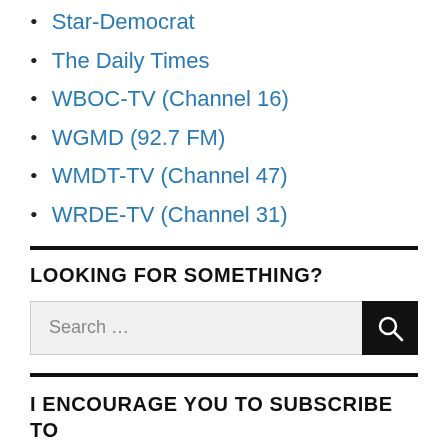Star-Democrat
The Daily Times
WBOC-TV (Channel 16)
WGMD (92.7 FM)
WMDT-TV (Channel 47)
WRDE-TV (Channel 31)
LOOKING FOR SOMETHING?
Search …
I ENCOURAGE YOU TO SUBSCRIBE TO